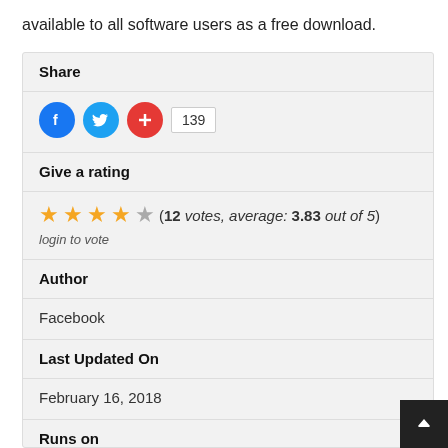available to all software users as a free download.
Share
[Figure (other): Social share icons: Facebook (blue circle with F), Twitter (blue circle with bird), red plus circle, and a count badge showing 139]
Give a rating
(12 votes, average: 3.83 out of 5)
login to vote
Author
Facebook
Last Updated On
February 16, 2018
Runs on
Windows 10 / Windows 8 / Windows 7 / Windows Vista / XP